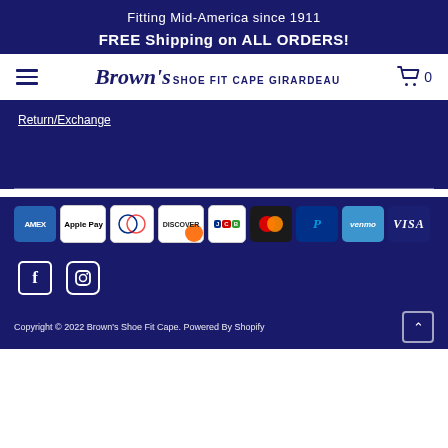Fitting Mid-America since 1911
FREE Shipping on ALL ORDERS!
[Figure (logo): Brown's Shoe Fit Cape Girardeau logo with hamburger menu and cart icon (0 items)]
Return/Exchange
[Figure (infographic): Payment method icons: American Express, Apple Pay, Diners Club, Discover, JCB, Mastercard, PayPal, Venmo, Visa]
[Figure (infographic): Social media icons: Facebook (f) and Instagram]
Copyright © 2022 Brown's Shoe Fit Cape.  Powered By Shopify